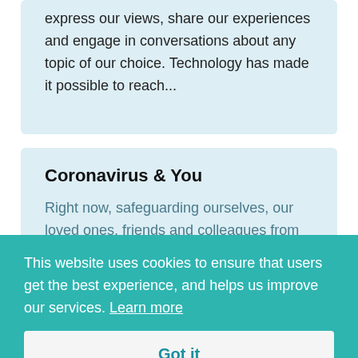obtain information, communicate with others, express our views, share our experiences and engage in conversations about any topic of our choice. Technology has made it possible to reach...
Coronavirus & You
Right now, safeguarding ourselves, our loved ones, friends and colleagues from COVID-19 (Coronavirus) is uppermost in people's minds, here and around the world. After all, this is an unprecedented situation which warrants...
This website uses cookies to ensure that users get the best experience, and helps us improve our services. Learn more
Got it